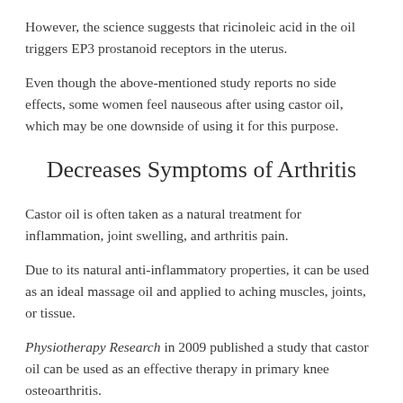However, the science suggests that ricinoleic acid in the oil triggers EP3 prostanoid receptors in the uterus.
Even though the above-mentioned study reports no side effects, some women feel nauseous after using castor oil, which may be one downside of using it for this purpose.
Decreases Symptoms of Arthritis
Castor oil is often taken as a natural treatment for inflammation, joint swelling, and arthritis pain.
Due to its natural anti-inflammatory properties, it can be used as an ideal massage oil and applied to aching muscles, joints, or tissue.
Physiotherapy Research in 2009 published a study that castor oil can be used as an effective therapy in primary knee osteoarthritis.